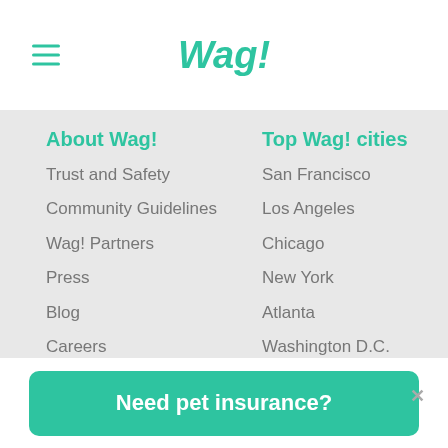Wag!
About Wag!
Trust and Safety
Community Guidelines
Wag! Partners
Press
Blog
Careers
Become a Dog Walker
Top Wag! cities
San Francisco
Los Angeles
Chicago
New York
Atlanta
Washington D.C.
Dallas
Miami
Philadelphia
Resources
Lifestyles
Need pet insurance?